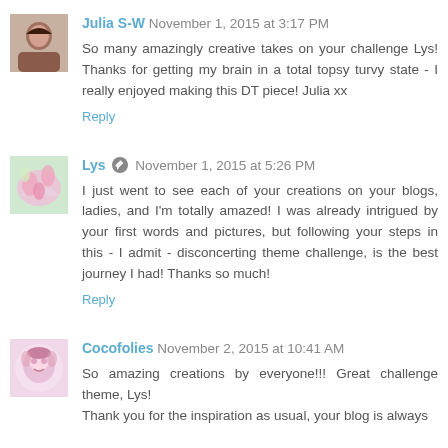Julia S-W  November 1, 2015 at 3:17 PM
So many amazingly creative takes on your challenge Lys! Thanks for getting my brain in a total topsy turvy state - I really enjoyed making this DT piece! Julia xx
Reply
Lys  November 1, 2015 at 5:26 PM
I just went to see each of your creations on your blogs, ladies, and I'm totally amazed! I was already intrigued by your first words and pictures, but following your steps in this - I admit - disconcerting theme challenge, is the best journey I had! Thanks so much!
Reply
Cocofolies  November 2, 2015 at 10:41 AM
So amazing creations by everyone!!! Great challenge theme, Lys!
Thank you for the inspiration as usual, your blog is always